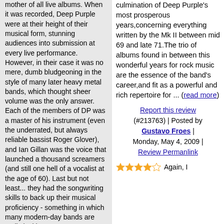mother of all live albums. When it was recorded, Deep Purple were at their height of their musical form, stunning audiences into submission at every live performance. However, in their case it was no mere, dumb bludgeoning in the style of many later heavy metal bands, which thought sheer volume was the only answer. Each of the members of DP was a master of his instrument (even the underrated, but always reliable bassist Roger Glover), and Ian Gillan was the voice that launched a thousand screamers (and still one hell of a vocalist at the age of 60). Last but not least... they had the songwriting skills to back up their musical proficiency - something in which many modern-day bands are sadly lacking.
The seven tracks included on "Made in Japan" are now part of rock's classic heritage. However, they are no simple renditions of the studio tracks, but rather an excuse for the band to flex their
culmination of Deep Purple's most prosperous years,concerning everything written by the Mk II between mid 69 and late 71.The trio of albums found in between this wonderful years for rock music are the essence of the band's career,and fit as a powerful and rich repertoire for ... (read more)
Report this review (#213763) | Posted by Gustavo Froes | Monday, May 4, 2009 | Review Permanlink
Again, I